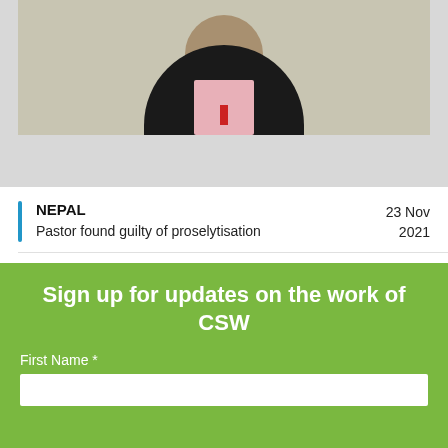[Figure (photo): Partial photo of a man in a black suit with pink shirt, cropped at head/shoulders level]
NEPAL
Pastor found guilty of proselytisation
23 Nov 2021
NEPAL
CSW calls for unfounded charges against pastor to be dropped
15 May 2020
Sign up for updates on the work of CSW
First Name *